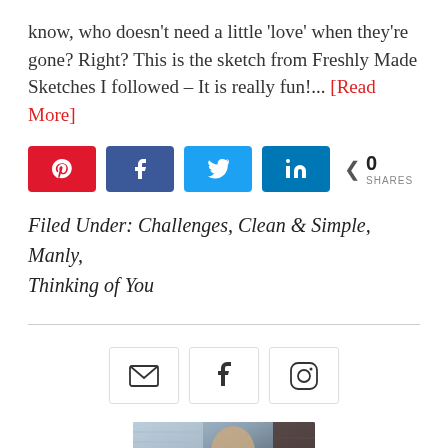know, who doesn't need a little 'love' when they're gone? Right? This is the sketch from Freshly Made Sketches I followed – It is really fun!... [Read More]
[Figure (infographic): Social share buttons: Pinterest (red), Facebook (blue), Twitter (light blue), LinkedIn (dark blue), and share count showing 0 SHARES]
Filed Under: Challenges, Clean & Simple, Manly, Thinking of You
[Figure (infographic): Social media icon links: email (envelope), Facebook (f), Instagram (camera/circle)]
[Figure (photo): Portrait photo of a woman with brown hair, partially visible at bottom of page]